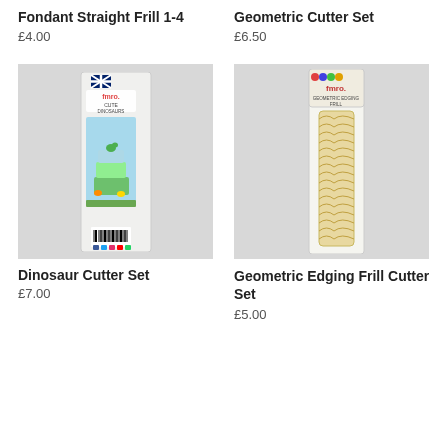Fondant Straight Frill 1-4
£4.00
Geometric Cutter Set
£6.50
[Figure (photo): Product photo of Dinosaur Cutter Set packaging showing colorful dinosaur themed cake decorating cutters (FMM brand), tall narrow packaging with dinosaur decorated cake image]
Dinosaur Cutter Set
£7.00
[Figure (photo): Product photo of Geometric Edging Frill Cutter Set showing a long strip-style cutter with geometric/pearl pattern, FMM brand packaging]
Geometric Edging Frill Cutter Set
£5.00